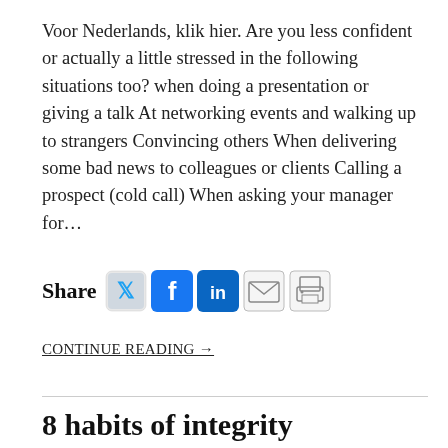Voor Nederlands, klik hier. Are you less confident or actually a little stressed in the following situations too? when doing a presentation or giving a talk At networking events and walking up to strangers Convincing others When delivering some bad news to colleagues or clients Calling a prospect (cold call) When asking your manager for…
[Figure (infographic): Share buttons row: Share label followed by Twitter, Facebook, LinkedIn, Email, and Print icons]
CONTINUE READING →
8 habits of integrity